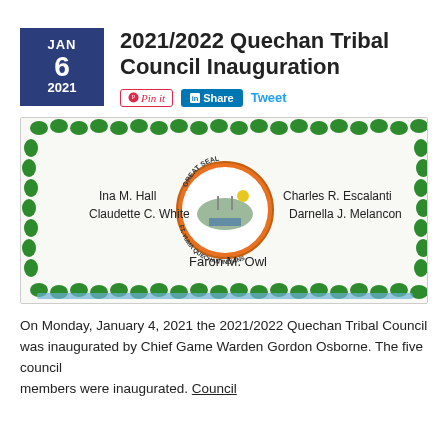JAN 6 2021
2021/2022 Quechan Tribal Council Inauguration
[Figure (photo): A decorated inauguration cake with green frosting border and the Great Seal of the Fort Yuma Quechan Indians in the center. Names on cake: Ina M. Hall, Claudette C. White (left), Charles R. Escalanti, Darnella J. Melancon (right), Faron M. Owl (bottom center).]
On Monday, January 4, 2021 the 2021/2022 Quechan Tribal Council was inaugurated by Chief Game Warden Gordon Osborne.  The five council members were inaugurated. Council